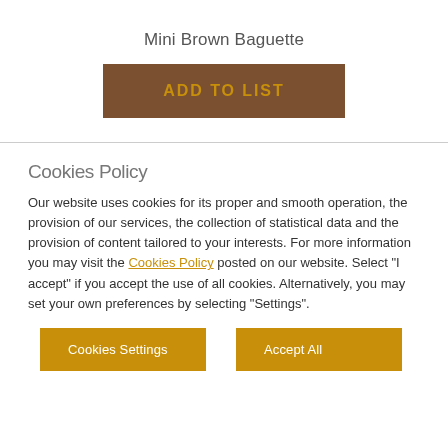Mini Brown Baguette
ADD TO LIST
Cookies Policy
Our website uses cookies for its proper and smooth operation, the provision of our services, the collection of statistical data and the provision of content tailored to your interests. For more information you may visit the Cookies Policy posted on our website. Select "I accept" if you accept the use of all cookies. Alternatively, you may set your own preferences by selecting "Settings".
Cookies Settings
Accept All